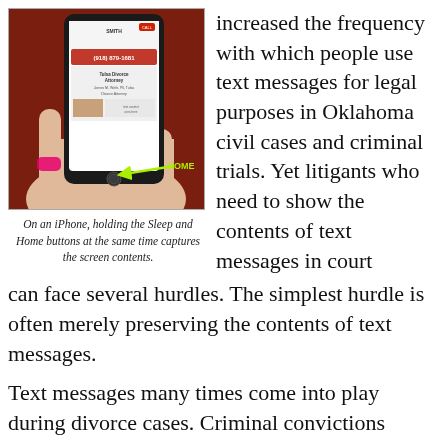[Figure (photo): A hand holding an iPhone displaying a contact card for a Tulsa Divorce Attorney with phone number (918) 879-1681. A green arrow points to the Home button with the label 'HOME'.]
On an iPhone, holding the Sleep and Home buttons at the same time captures the screen contents.
increased the frequency with which people use text messages for legal purposes in Oklahoma civil cases and criminal trials. Yet litigants who need to show the contents of text messages in court can face several hurdles. The simplest hurdle is often merely preserving the contents of text messages.
Text messages many times come into play during divorce cases. Criminal convictions